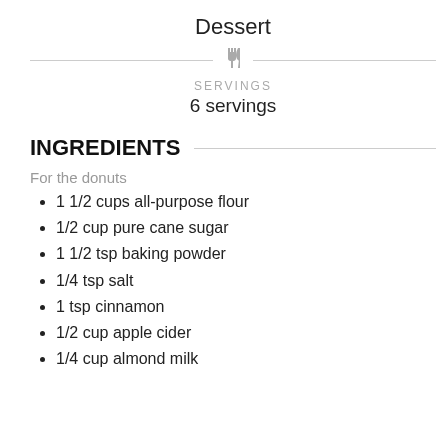Dessert
SERVINGS
6 servings
INGREDIENTS
For the donuts
1 1/2 cups all-purpose flour
1/2 cup pure cane sugar
1 1/2 tsp baking powder
1/4 tsp salt
1 tsp cinnamon
1/2 cup apple cider
1/4 cup almond milk